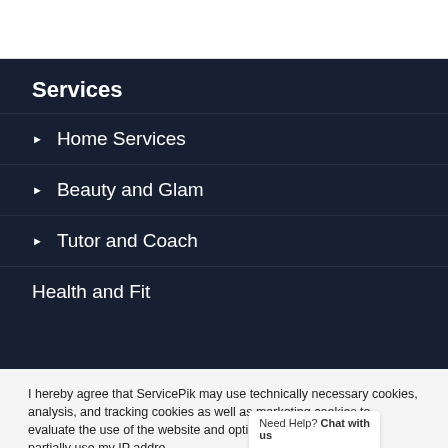Services
Home Services
Beauty and Glam
Tutor and Coach
Health and Fit...
I hereby agree that ServicePik may use technically necessary cookies, analysis, and tracking cookies as well as marketing cookies to evaluate the use of the website and optimize the webs... P... may partially use my IP addre...
Cookie settings   ACCEPT